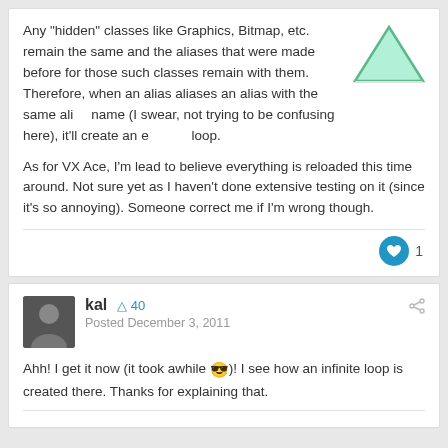Any "hidden" classes like Graphics, Bitmap, etc. remain the same and the aliases that were made before for those such classes remain with them. Therefore, when an alias aliases an alias with the same alias name (I swear, not trying to be confusing here), it'll create an endless loop.
As for VX Ace, I'm lead to believe everything is reloaded this time around. Not sure yet as I haven't done extensive testing on it (since it's so annoying). Someone correct me if I'm wrong though.
kal  +40  Posted December 3, 2011
Ahh! I get it now (it took awhile 😎)! I see how an infinite loop is created there. Thanks for explaining that.